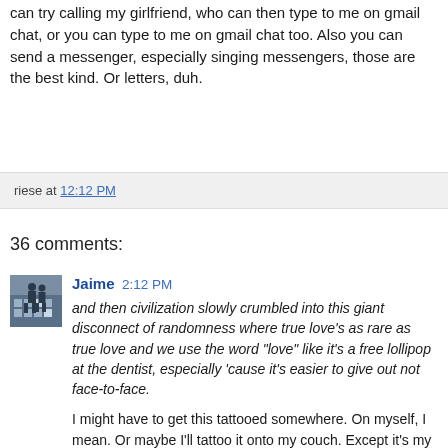can try calling my girlfriend, who can then type to me on gmail chat, or you can type to me on gmail chat too. Also you can send a messenger, especially singing messengers, those are the best kind. Or letters, duh.
riese at 12:12 PM
36 comments:
[Figure (photo): Avatar image of commenter Jaime, showing a silhouette figure against a building background]
Jaime 2:12 PM
and then civilization slowly crumbled into this giant disconnect of randomness where true love's as rare as true love and we use the word "love" like it's a free lollipop at the dentist, especially 'cause it's easier to give out not face-to-face.
I might have to get this tattooed somewhere. On myself, I mean. Or maybe I'll tattoo it onto my couch. Except it's my roommate's couch, and dark blue. I'll tattoo it onto his couch in glow-in-the-dark ink. Which's probably the same